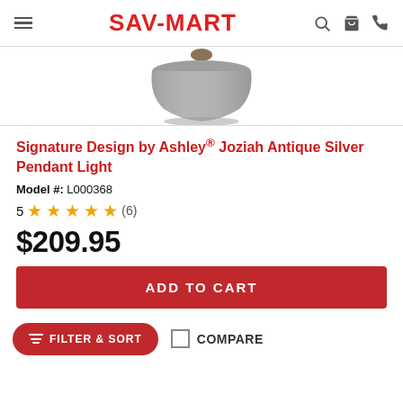SAV-MART
[Figure (photo): Antique silver dome pendant light with bronze cap, viewed from below against white background]
Signature Design by Ashley® Joziah Antique Silver Pendant Light
Model #: L000368
5 ★★★★★ (6)
$209.95
ADD TO CART
FILTER & SORT
COMPARE